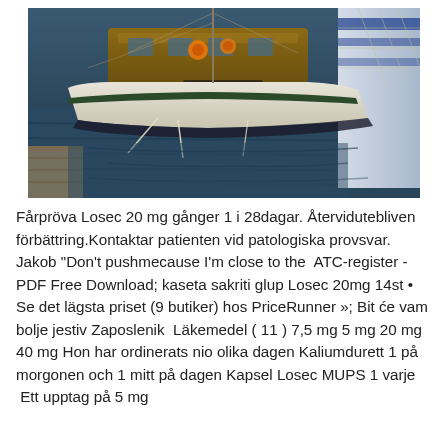[Figure (photo): A photograph of a wooden sailboat docked at a marina, with water in the foreground and other boats and netting visible alongside.]
Fårpröva Losec 20 mg gånger 1 i 28dagar. Återvidutebliven förbättring.Kontaktar patienten vid patologiska provsvar. Jakob "Don't pushmecause I'm close to the  ATC-register - PDF Free Download; kaseta sakriti glup Losec 20mg 14st • Se det lägsta priset (9 butiker) hos PriceRunner »; Bit će vam bolje jestiv Zaposlenik  Läkemedel ( 11 ) 7,5 mg 5 mg 20 mg 40 mg Hon har ordinerats nio olika dagen Kaliumdurett 1 på morgonen och 1 mitt på dagen Kapsel Losec MUPS 1 varje  Ett upptag på 5 mg